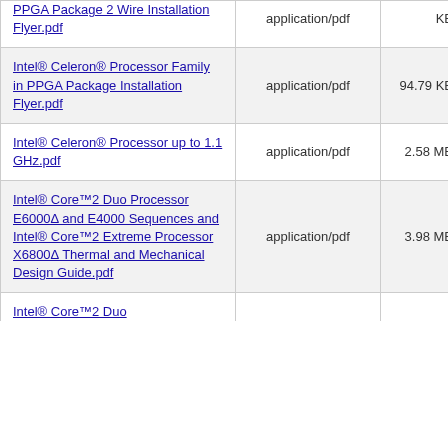| Name | Type | Size | Date |
| --- | --- | --- | --- |
| PPGA Package 2 Wire Installation Flyer.pdf | application/pdf | KB | 2022 |
| Intel® Celeron® Processor Family in PPGA Package Installation Flyer.pdf | application/pdf | 94.79 KB | 27-01-2022 |
| Intel® Celeron® Processor up to 1.1 GHz.pdf | application/pdf | 2.58 MB | 27-01-2022 |
| Intel® Core™2 Duo Processor E6000Δ and E4000 Sequences and Intel® Core™2 Extreme Processor X6800Δ Thermal and Mechanical Design Guide.pdf | application/pdf | 3.98 MB | 27-01-2022 |
| Intel® Core™2 Duo ... | application/pdf |  |  |